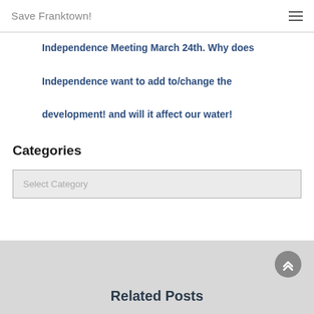Save Franktown!
Independence Meeting March 24th. Why does Independence want to add to/change the development! and will it affect our water!
Categories
Select Category
Related Posts